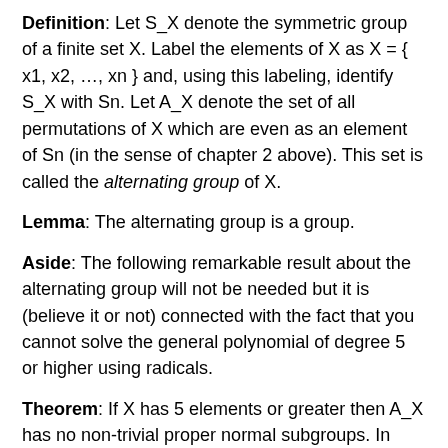Definition: Let S_X denote the symmetric group of a finite set X. Label the elements of X as X = { x1, x2, …, xn } and, using this labeling, identify S_X with Sn. Let A_X denote the set of all permutations of X which are even as an element of Sn (in the sense of chapter 2 above). This set is called the alternating group of X.
Lemma: The alternating group is a group.
Aside: The following remarkable result about the alternating group will not be needed but it is (believe it or not) connected with the fact that you cannot solve the general polynomial of degree 5 or higher using radicals.
Theorem: If X has 5 elements or greater then A_X has no non-trivial proper normal subgroups. In other words, if H <| A_X then either H = {1} or H = A_X.